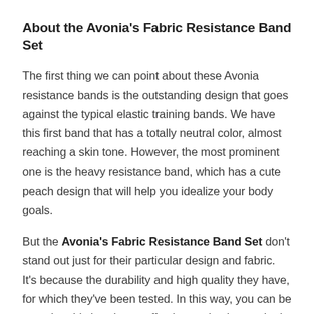About the Avonia's Fabric Resistance Band Set
The first thing we can point about these Avonia resistance bands is the outstanding design that goes against the typical elastic training bands. We have this first band that has a totally neutral color, almost reaching a skin tone. However, the most prominent one is the heavy resistance band, which has a cute peach design that will help you idealize your body goals.
But the Avonia's Fabric Resistance Band Set don't stand out just for their particular design and fabric. It's because the durability and high quality they have, for which they've been tested. In this way, you can be sure that this bands are effective as they're aesthetic and pretty special. Now, don't stop reading, because we'll continue with some of the